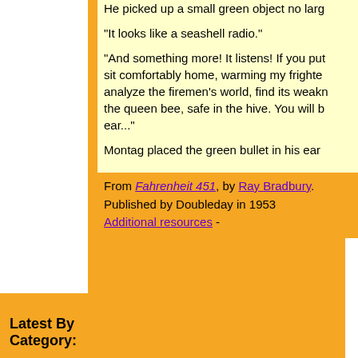He picked up a small green object no larg...
"It looks like a seashell radio."
"And something more! It listens! If you put... sit comfortably home, warming my frighte... analyze the firemen's world, find its weakn... the queen bee, safe in the hive. You will b... ear..."
Montag placed the green bullet in his ear...
From Fahrenheit 451, by Ray Bradbury. Published by Doubleday in 1953 Additional resources -
Latest By Category: